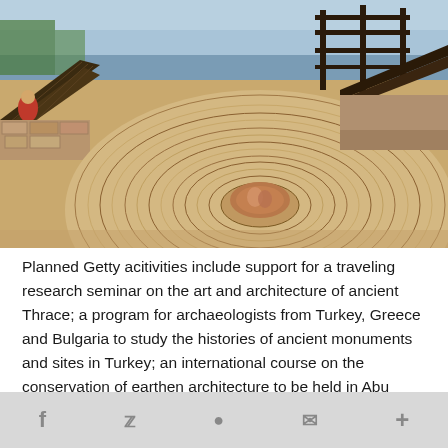[Figure (photo): Archaeological excavation site showing a large circular mosaic floor with concentric ring patterns and a figural scene at center, surrounded by stone walls and wooden walkways/scaffolding. A person in red is visible on the left walkway.]
Planned Getty acitivities include support for a traveling research seminar on the art and architecture of ancient Thrace; a program for archaeologists from Turkey, Greece and Bulgaria to study the histories of ancient monuments and sites in Turkey; an international course on the conservation of earthen architecture to be held in Abu Dhabi; a book focusing on the intentional destruction of cultural heritage in pursuit of strategic and political
f   [twitter]   [mail]   +